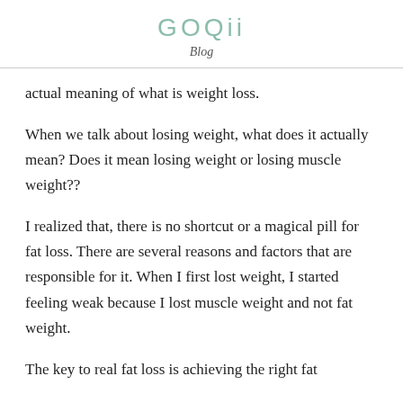GOQii
Blog
actual meaning of what is weight loss.
When we talk about losing weight, what does it actually mean? Does it mean losing weight or losing muscle weight??
I realized that, there is no shortcut or a magical pill for fat loss. There are several reasons and factors that are responsible for it. When I first lost weight, I started feeling weak because I lost muscle weight and not fat weight.
The key to real fat loss is achieving the right fat...